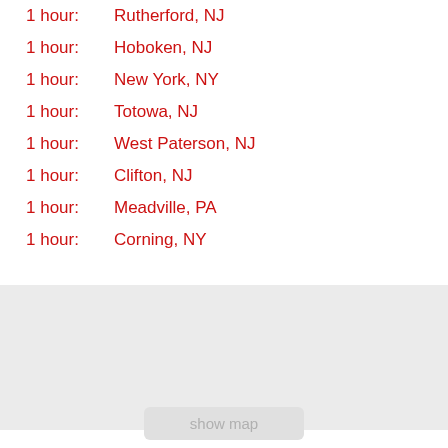1 hour:   Rutherford, NJ
1 hour:   Hoboken, NJ
1 hour:   New York, NY
1 hour:   Totowa, NJ
1 hour:   West Paterson, NJ
1 hour:   Clifton, NJ
1 hour:   Meadville, PA
1 hour:   Corning, NY
[Figure (map): Map placeholder area, light gray background]
show map